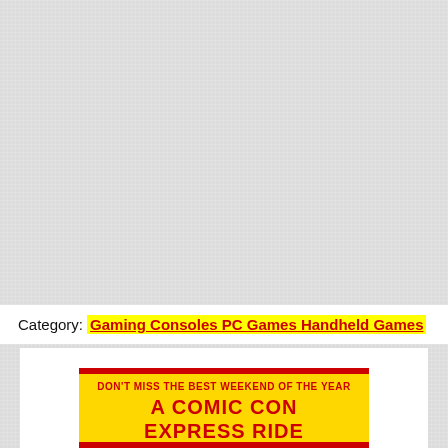Category: Gaming Consoles PC Games Handheld Games
[Figure (illustration): Comic Con Express Ride promotional banner with yellow background and red bold text reading 'DON'T MISS THE BEST WEEKEND OF THE YEAR A COMIC CON EXPRESS RIDE']